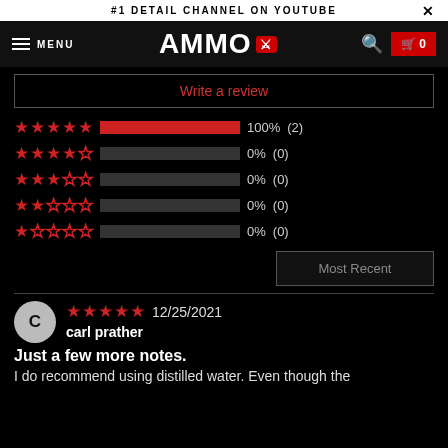#1 DETAIL CHANNEL ON YOUTUBE
[Figure (logo): AMMO brand logo with eagle shield emblem, navigation bar with menu, search, and cart]
Write a review
[Figure (bar-chart): Star rating distribution]
Most Recent
12/25/2021
carl prather
Just a few more notes.
I do recommend using distilled water. Even though the